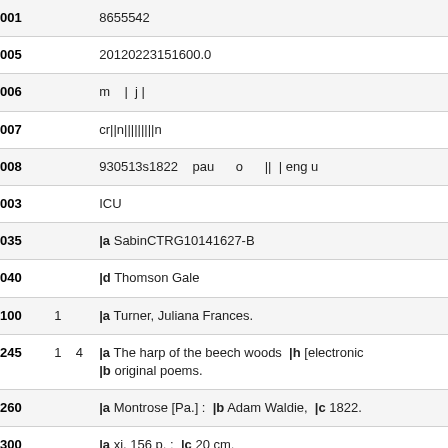| Tag | Indicators | Value |
| --- | --- | --- |
| 001 |  | 8655542 |
| 005 |  | 20120223151600.0 |
| 006 |  | m   |  j | |
| 007 |  | cr||n|||||||||n |
| 008 |  | 930513s1822    pau     o     ||  | eng u |
| 003 |  | ICU |
| 035 |  | |a SabinCTRG10141627-B |
| 040 |  | |d Thomson Gale |
| 100 | 1 | |a Turner, Juliana Frances. |
| 245 | 1   4 | |a The harp of the beech woods  |h [electronic resource] /  |b original poems. |
| 260 |  | |a Montrose [Pa.] :  |b Adam Waldie,  |c 1822. |
| 300 |  | |a xi, 156 p. :  |c 20 cm. |